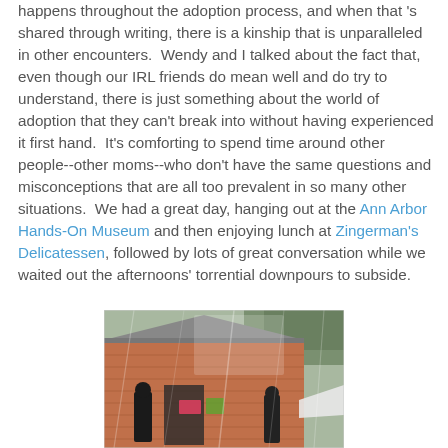happens throughout the adoption process, and when that 's shared through writing, there is a kinship that is unparalleled in other encounters.  Wendy and I talked about the fact that, even though our IRL friends do mean well and do try to understand, there is just something about the world of adoption that they can't break into without having experienced it first hand.  It's comforting to spend time around other people--other moms--who don't have the same questions and misconceptions that are all too prevalent in so many other situations.  We had a great day, hanging out at the Ann Arbor Hands-On Museum and then enjoying lunch at Zingerman's Delicatessen, followed by lots of great conversation while we waited out the afternoons' torrential downpours to subside.
[Figure (photo): Photograph of a brick building exterior, likely the Ann Arbor Hands-On Museum, taken through a rain-streaked window or glass. People in dark clothing visible near the entrance. Signs and foliage visible.]